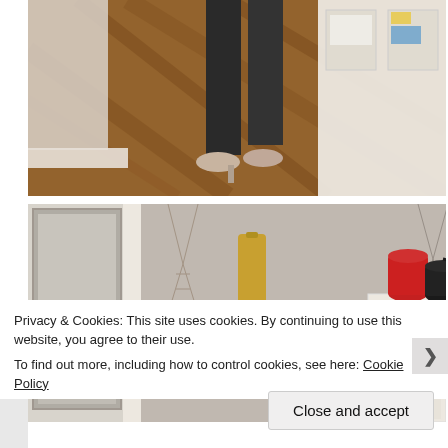[Figure (photo): Lower body of a person wearing dark trousers and light/nude heels, standing on a herringbone-patterned wooden floor near a wall with a white cabinet containing shelved items.]
[Figure (photo): Interior room scene with white furniture/cabinet, decorative geometric wire ornaments hanging from ceiling, a gold/yellow wall-mounted object, a red jug/pitcher and a dark kettle on top of a white sideboard.]
Privacy & Cookies: This site uses cookies. By continuing to use this website, you agree to their use.
To find out more, including how to control cookies, see here: Cookie Policy
Close and accept